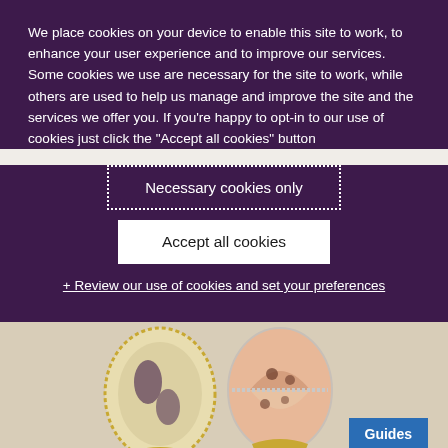We place cookies on your device to enable this site to work, to enhance your user experience and to improve our services. Some cookies we use are necessary for the site to work, while others are used to help us manage and improve the site and the services we offer you. If you're happy to opt-in to our use of cookies just click the "Accept all cookies" button
Necessary cookies only
Accept all cookies
+ Review our use of cookies and set your preferences
[Figure (photo): Two ornate Fabergé-style decorative eggs on stands against a light brick wall background. A blue 'Guides' badge is overlaid in the bottom right corner.]
18 May 2021
Anti-counterfeiting country guides